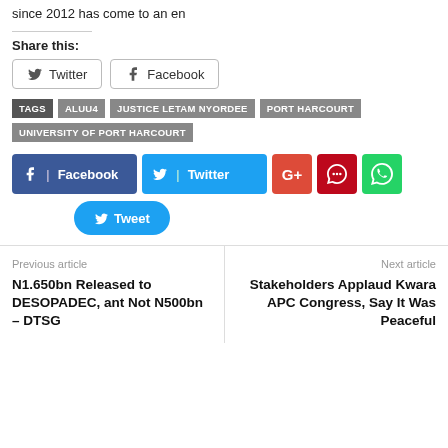since 2012 has come to an en
Share this:
Twitter  Facebook
TAGS  ALUU4  JUSTICE LETAM NYORDEE  PORT HARCOURT  UNIVERSITY OF PORT HARCOURT
[Figure (other): Social share buttons: Facebook, Twitter, Google+, Pinterest, WhatsApp, Tweet]
Previous article
N1.650bn Released to DESOPADEC, ant Not N500bn – DTSG
Next article
Stakeholders Applaud Kwara APC Congress, Say It Was Peaceful